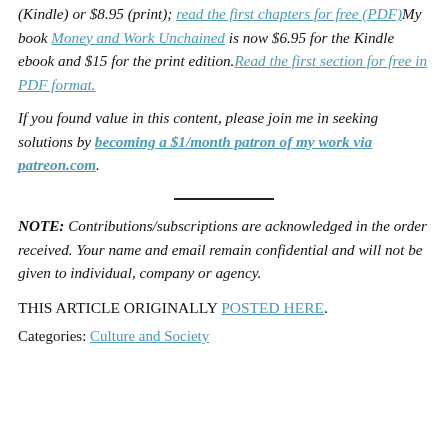(Kindle) or $8.95 (print); read the first chapters for free (PDF)My book Money and Work Unchained is now $6.95 for the Kindle ebook and $15 for the print edition. Read the first section for free in PDF format.
If you found value in this content, please join me in seeking solutions by becoming a $1/month patron of my work via patreon.com.
NOTE: Contributions/subscriptions are acknowledged in the order received. Your name and email remain confidential and will not be given to individual, company or agency.
THIS ARTICLE ORIGINALLY POSTED HERE.
Categories: Culture and Society